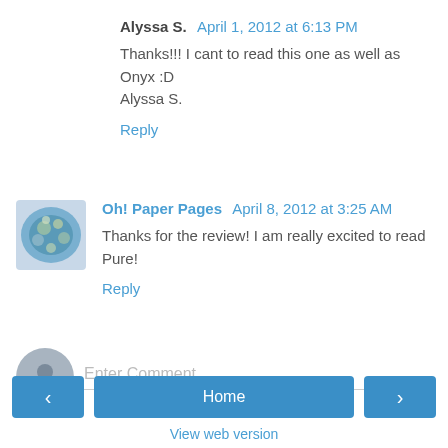Alyssa S.  April 1, 2012 at 6:13 PM
Thanks!!! I cant to read this one as well as Onyx :D Alyssa S.
Reply
[Figure (illustration): Colorful avatar image for Oh! Paper Pages commenter]
Oh! Paper Pages  April 8, 2012 at 3:25 AM
Thanks for the review! I am really excited to read Pure!
Reply
Enter Comment
Home
View web version